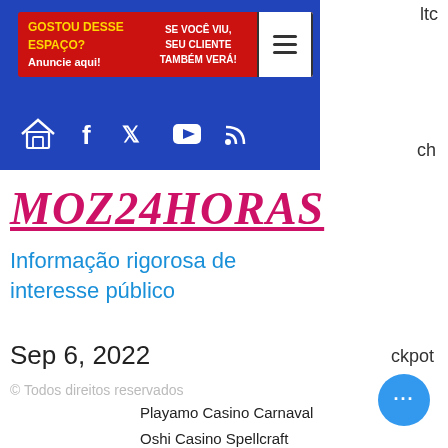[Figure (screenshot): Blue navigation banner with red advertisement bar reading 'GOSTOU DESSE ESPAÇO? ANUNCIE AQUI! / SE VOCÊ VIU, SEU CLIENTE TAMBÉM VERÁ!' and hamburger menu icon]
[Figure (illustration): Navigation icons: home icon, Facebook, Twitter, YouTube, RSS feed icons in white on blue background]
MOZ24HORAS
Informação rigorosa de interesse público
Sep 6, 2022
ckpot
© Todos direitos reservados
Playamo Casino Carnaval
Oshi Casino Spellcraft
1xBit Casino World Soccer Slot 2
22Bet Casino Musketeer Slot
Playamo Casino Flying Horse
BitStarz Casino Doublin Gold